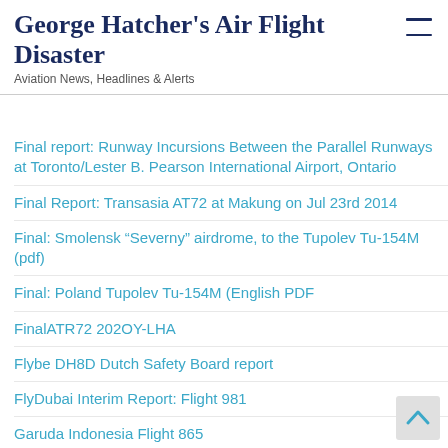George Hatcher's Air Flight Disaster
Aviation News, Headlines & Alerts
Final report: Runway Incursions Between the Parallel Runways at Toronto/Lester B. Pearson International Airport, Ontario
Final Report: Transasia AT72 at Makung on Jul 23rd 2014
Final: Smolensk “Severny” airdrome, to the Tupolev Tu-154M (pdf)
Final: Poland Tupolev Tu-154M (English PDF
FinalATR72 202OY-LHA
Flybe DH8D Dutch Safety Board report
FlyDubai Interim Report: Flight 981
Garuda Indonesia Flight 865
Germanwings 9525 Interim Report (PDF)
Golet Airlines Final Report CRJ-700, N367CA